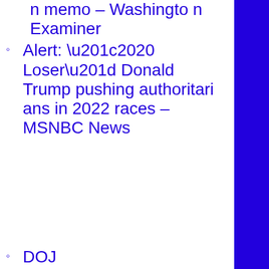n memo – Washington Examiner
Alert: “2020 Loser” Donald Trump pushing authoritarians in 2022 races – MSNBC News
DOJ